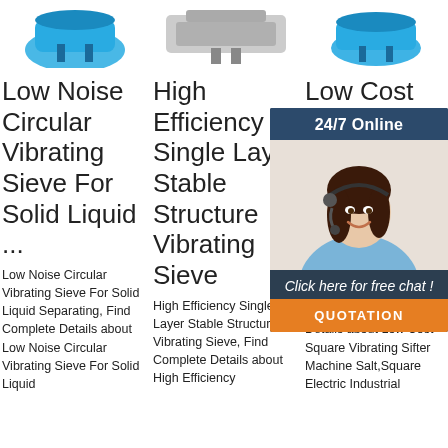[Figure (photo): Product thumbnail: blue circular vibrating sieve machine (cropped top)]
[Figure (photo): Product thumbnail: industrial vibrating sieve equipment (cropped top)]
[Figure (photo): Product thumbnail: blue industrial sifter machine (cropped top)]
Low Noise Circular Vibrating Sieve For Solid Liquid ...
High Efficiency Single Layer Stable Structure Vibrating Sieve
Low Cost Square Vibrating Sifter Machine Salt ...
Low Noise Circular Vibrating Sieve For Solid Liquid Separating, Find Complete Details about Low Noise Circular Vibrating Sieve For Solid Liquid
High Efficiency Single Layer Stable Structure Vibrating Sieve, Find Complete Details about High Efficiency
Low Cost Square Vibrating Sifter Machine Salt, Find Complete Details about Low Cost Square Vibrating Sifter Machine Salt,Square Electric Industrial
[Figure (screenshot): 24/7 Online chat widget with agent photo, 'Click here for free chat!' text and orange QUOTATION button]